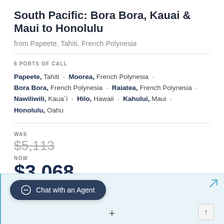South Pacific: Bora Bora, Kauai & Maui to Honolulu
from Papeete, Tahiti, French Polynesia
8 PORTS OF CALL
Papeete, Tahiti · Moorea, French Polynesia · Bora Bora, French Polynesia · Raiatea, French Polynesia · Nawiliwili, Kaua`i · Hilo, Hawaii · Kahului, Maui · Honolulu, Oahu
WAS
$5,113
NOW
$3,068 PP/USD
Chat with an Agent